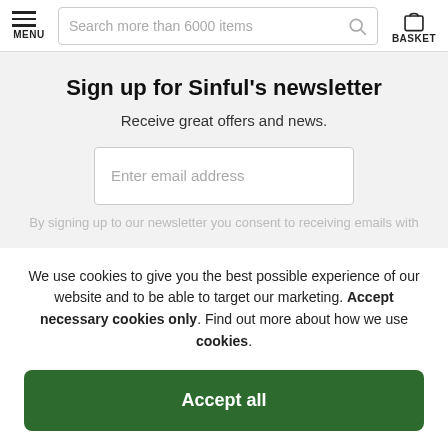MENU | Search more than 6000 items | BASKET
Sign up for Sinful's newsletter
Receive great offers and news.
[Figure (other): Email address input field with placeholder text 'Enter email address']
We use cookies to give you the best possible experience of our website and to be able to target our marketing. Accept necessary cookies only. Find out more about how we use cookies.
Accept all